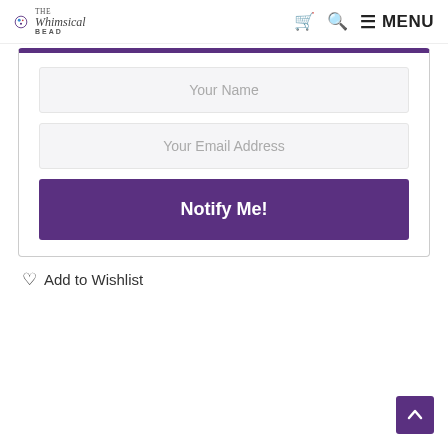The Whimsical Bead — navigation header with cart, search, and MENU
[Figure (screenshot): Email notification signup form with 'Your Name' and 'Your Email Address' input fields and a 'Notify Me!' purple button, inside a card with purple top border]
Add to Wishlist
[Figure (other): Back-to-top button, purple square with upward chevron arrow, bottom-right corner]